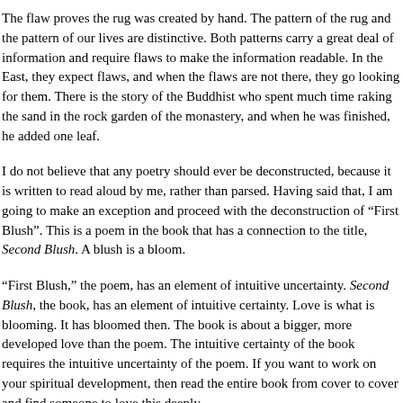The flaw proves the rug was created by hand. The pattern of the rug and the pattern of our lives are distinctive. Both patterns carry a great deal of information and require flaws to make the information readable. In the East, they expect flaws, and when the flaws are not there, they go looking for them. There is the story of the Buddhist who spent much time raking the sand in the rock garden of the monastery, and when he was finished, he added one leaf.
I do not believe that any poetry should ever be deconstructed, because it is written to be read aloud by me, rather than parsed. Having said that, I am going to make an exception and proceed with the deconstruction of “First Blush”. This is a poem in the book that has a connection to the title, Second Blush. A blush is a bloom.
“First Blush,” the poem, has an element of intuitive uncertainty. Second Blush, the book, has an element of intuitive certainty. Love is what is blooming. It has bloomed then. The book is about a bigger, more developed love than the poem. The intuitive certainty of the book requires the intuitive uncertainty of the poem. If you want to work on your spiritual development, then read the entire book from cover to cover and find someone to love this deeply.